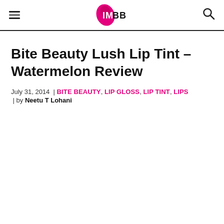IMBB logo with hamburger menu and search icon
Bite Beauty Lush Lip Tint – Watermelon Review
July 31, 2014 | BITE BEAUTY, LIP GLOSS, LIP TINT, LIPS | by Neetu T Lohani